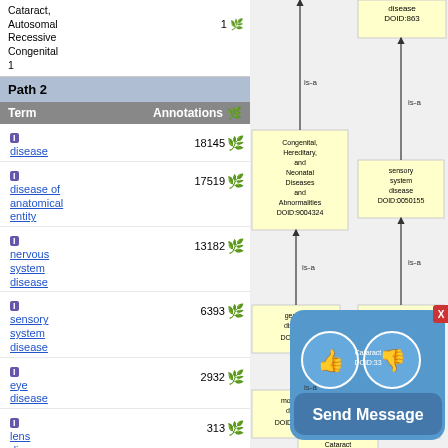Cataract, Autosomal Recessive Congenital 1  |  1
Path 2
| Term | Annotations |
| --- | --- |
| disease | 18145 |
| disease of anatomical entity | 17519 |
| nervous system disease | 13182 |
| sensory system disease | 6393 |
| eye disease | 2932 |
| lens disease | 313 |
|  | 306 |
[Figure (network-graph): Ontology hierarchy graph showing disease relationships: disease DOID:863, sensory system disease DOID:0050155, Congenital Hereditary and Neonatal Diseases and Abnormalities DOID:9004324, genetic disease DOID:630, eye disease DOID:5614, monogenic disease DOID:0050177, lens disease DOID:110, Cataract DOID:33, with is-a relationships shown as arrows, and a Send Message popup overlay with thumbs up/down icons.]